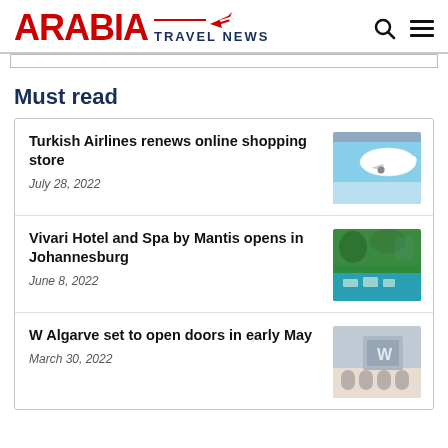ARABIA TRAVEL NEWS
Must read
Turkish Airlines renews online shopping store
July 28, 2022
Vivari Hotel and Spa by Mantis opens in Johannesburg
June 8, 2022
W Algarve set to open doors in early May
March 30, 2022